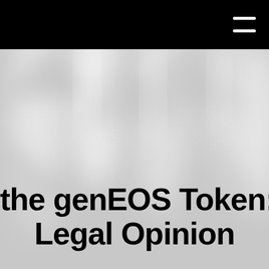[Figure (photo): Blurred background photo of glass or laboratory tubes/vials arranged geometrically, in grayscale/light gray tones, serving as hero image background]
the genEOS Token: Legal Opinion